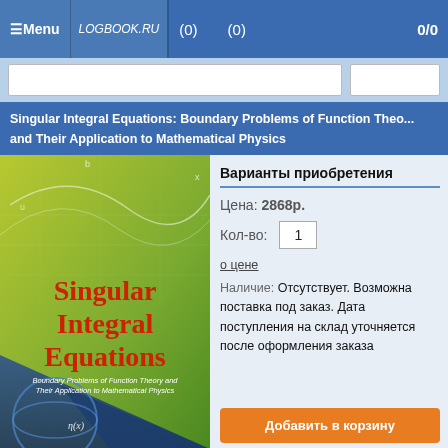≡ Menu | LOGBOOK.RU | (0) | (0) | 0/0
Singular Integral Equations: Boundary Problems of Function Theory and Their Application to Mathematical Physics
[Figure (photo): Book cover of 'Singular Integral Equations: Boundary Problems of Function Theory and Their Application to Mathematical Physics'. Green and blue background with mathematical curves and geometric shapes. Title in large red text, subtitle in white text.]
Варианты приобретения
Цена: 2868р.
Кол-во: 1
о цене
Наличие: Отсутствует. Возможна поставка под заказ. Дата поступления на склад уточняется после оформления заказа
Добавить в корзину